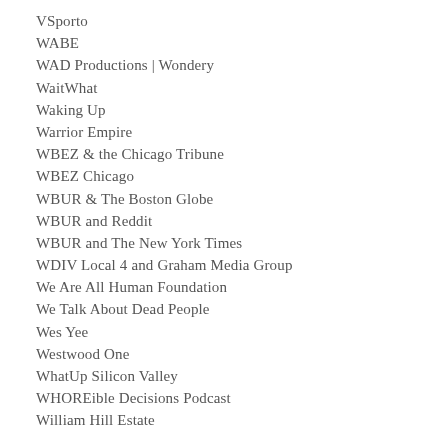VSporto
WABE
WAD Productions | Wondery
WaitWhat
Waking Up
Warrior Empire
WBEZ & the Chicago Tribune
WBEZ Chicago
WBUR & The Boston Globe
WBUR and Reddit
WBUR and The New York Times
WDIV Local 4 and Graham Media Group
We Are All Human Foundation
We Talk About Dead People
Wes Yee
Westwood One
WhatUp Silicon Valley
WHOREible Decisions Podcast
William Hill Estate